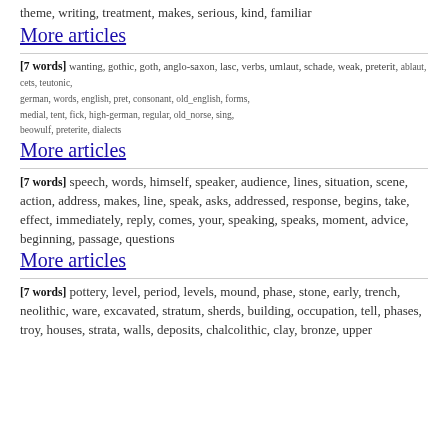theme, writing, treatment, makes, serious, kind, familiar
More articles
[7 words] wanting, gothic, goth, anglo-saxon, lasc, verbs, umlaut, schade, weak, preterit, ablaut, cets, teutonic, german, words, english, pret, consonant, old_english, forms, medial, tent, fick, high-german, regular, old_norse, sing, beowulf, preterite, dialects
More articles
[7 words] speech, words, himself, speaker, audience, lines, situation, scene, action, address, makes, line, speak, asks, addressed, response, begins, take, effect, immediately, reply, comes, your, speaking, speaks, moment, advice, beginning, passage, questions
More articles
[7 words] pottery, level, period, levels, mound, phase, stone, early, trench, neolithic, ware, excavated, stratum, sherds, building, occupation, tell, phases, troy, houses, strata, walls, deposits, chalcolithic, clay, bronze, upper